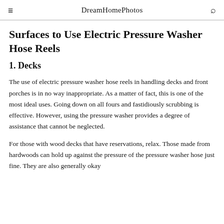DreamHomePhotos
Surfaces to Use Electric Pressure Washer Hose Reels
1. Decks
The use of electric pressure washer hose reels in handling decks and front porches is in no way inappropriate. As a matter of fact, this is one of the most ideal uses. Going down on all fours and fastidiously scrubbing is effective. However, using the pressure washer provides a degree of assistance that cannot be neglected.
For those with wood decks that have reservations, relax. Those made from hardwoods can hold up against the pressure of the pressure washer hose just fine. They are also generally okay